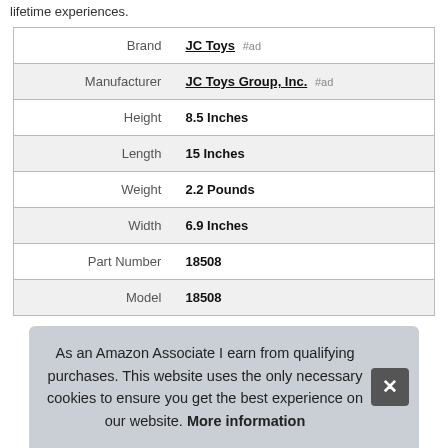lifetime experiences.
| Attribute | Value |
| --- | --- |
| Brand | JC Toys #ad |
| Manufacturer | JC Toys Group, Inc. #ad |
| Height | 8.5 Inches |
| Length | 15 Inches |
| Weight | 2.2 Pounds |
| Width | 6.9 Inches |
| Part Number | 18508 |
| Model | 18508 |
As an Amazon Associate I earn from qualifying purchases. This website uses the only necessary cookies to ensure you get the best experience on our website. More information